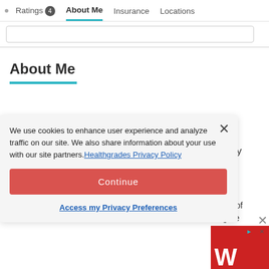Ratings 4  About Me  Insurance  Locations
About Me
We use cookies to enhance user experience and analyze traffic on our site. We also share information about your use with our site partners. Healthgrades Privacy Policy
Continue
Access my Privacy Preferences